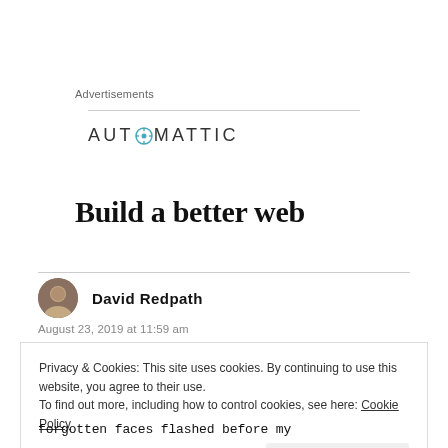Advertisements
[Figure (logo): Automattic logo with compass icon and uppercase text AUTOMATTIC]
Build a better web
David Redpath
August 23, 2019 at 11:59 am
Privacy & Cookies: This site uses cookies. By continuing to use this website, you agree to their use.
To find out more, including how to control cookies, see here: Cookie Policy
Close and accept
forgotten faces flashed before my